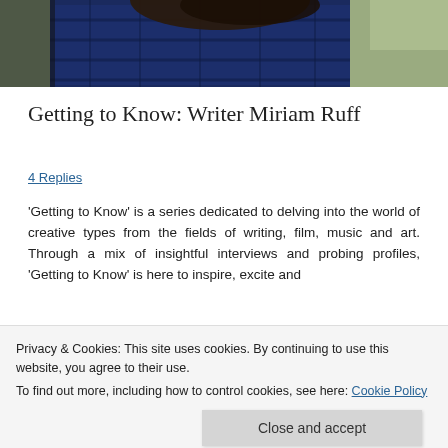[Figure (photo): Partial photograph of a person wearing a dark blue plaid shirt, visible from shoulders up, with trees/outdoor background]
Getting to Know: Writer Miriam Ruff
4 Replies
'Getting to Know' is a series dedicated to delving into the world of creative types from the fields of writing, film, music and art. Through a mix of insightful interviews and probing profiles, 'Getting to Know' is here to inspire, excite and
Privacy & Cookies: This site uses cookies. By continuing to use this website, you agree to their use.
To find out more, including how to control cookies, see here: Cookie Policy
Close and accept
low down on everything from creative writing to guinea pigs...